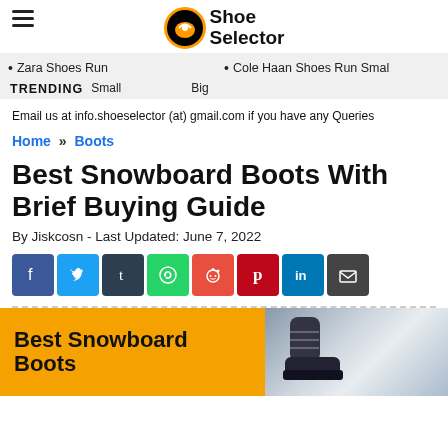Shoe Selector
• Zara Shoes Run  • Cole Haan Shoes Run Small
TRENDING  Small  Big
Email us at info.shoeselector (at) gmail.com if you have any Queries
Home » Boots
Best Snowboard Boots With Brief Buying Guide
By Jiskcosn - Last Updated: June 7, 2022
[Figure (other): Social sharing buttons: Facebook, Twitter, Tumblr, WhatsApp, Reddit, Pinterest, LinkedIn, Email]
[Figure (other): Article featured image with orange background showing 'Best Snowboard Boots' text and a snowboard boot photo on snowy background]